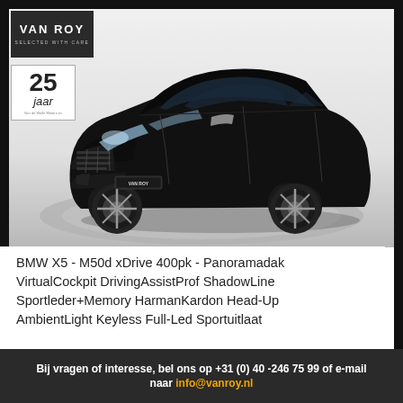[Figure (logo): Van Roy Selected With Care dealer logo, white text on dark background]
[Figure (illustration): 25 jaar anniversary badge with border]
[Figure (photo): Black BMW X5 M50d xDrive SUV on a circular display platform, photographed at a 3/4 front angle]
BMW X5 - M50d xDrive 400pk - Panoramadak VirtualCockpit DrivingAssistProf ShadowLine Sportleder+Memory HarmanKardon Head-Up AmbientLight Keyless Full-Led Sportuitlaat
Bij vragen of interesse, bel ons op +31 (0) 40 -246 75 99 of e-mail naar info@vanroy.nl